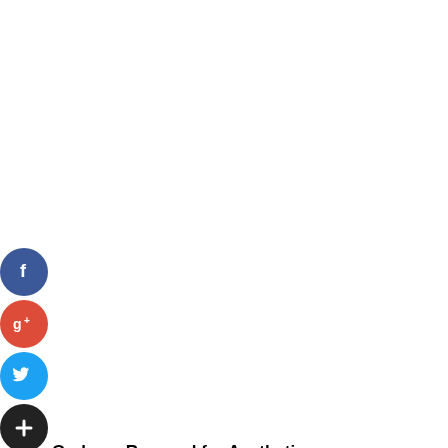[Figure (infographic): Social media sharing icons on left side: Facebook (blue circle with f), Google+ (red circle with g+), Twitter (light blue circle with bird), and a dark plus/add circle button]
Garbage Removal for Aesthetics
It is a bit sore to find litter accumulation from the home